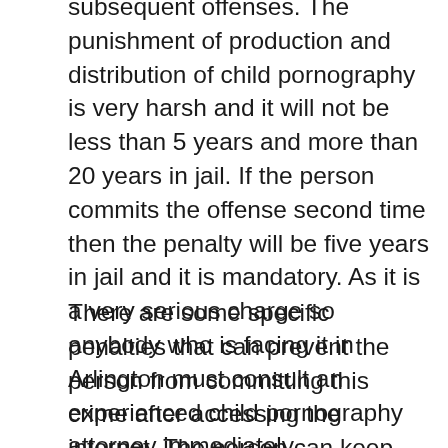subsequent offenses. The punishment of production and distribution of child pornography is very harsh and it will not be less than 5 years and more than 20 years in jail. If the person commits the offense second time then the penalty will be five years in jail and it is mandatory. As it is a very serious charge so anybody who is facing it in Arlington must consult an experienced child pornography attorney immediately.
There are some specific penalties that can prevent the person from committing this crime after accessing the internet. The person can keep himself away from the internet and it is a condition of probation from child pornography. He can use the internet for some specific purpose only.